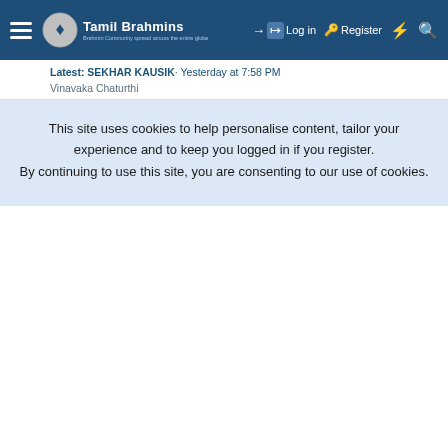Tamil Brahmins — Log in | Register
Latest: SEKHAR KAUSIK· Yesterday at 7:58 PM
Vinavaka Chaturthi
This site uses cookies to help personalise content, tailor your experience and to keep you logged in if you register.
By continuing to use this site, you are consenting to our use of cookies.